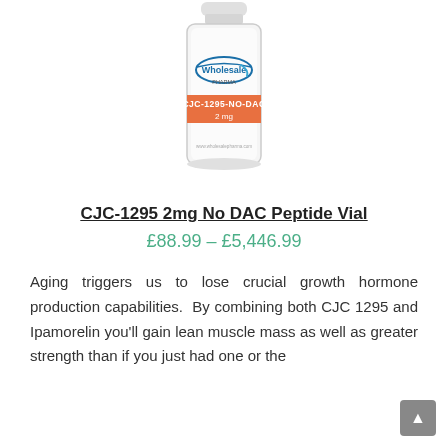[Figure (photo): Product photo of a pharmaceutical vial labeled CJC-1295-NO-DAC 2mg with Wholesale Pharma branding, showing a glass vial with an orange label band and blue logo.]
CJC-1295 2mg No DAC Peptide Vial
£88.99 – £5,446.99
Aging triggers us to lose crucial growth hormone production capabilities. By combining both CJC 1295 and Ipamorelin you'll gain lean muscle mass as well as greater strength than if you just had one or the